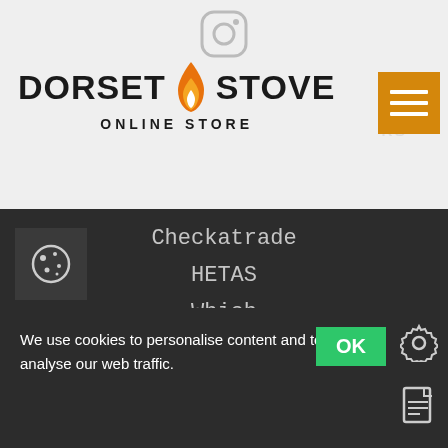[Figure (logo): Dorset Stove Online Store logo with flame icon]
Checkatrade
HETAS
Which
SIA
Facebook
Linkedin
Dorset Stove Installations Ltd is authorized and regulated by the Financial Conduct Authority 816413 and acts as a credit mediary. Finance options are provided by Divido Financial ices Limited in association with Omni Capital Retail Finance
We use cookies to personalise content and to analyse our web traffic.